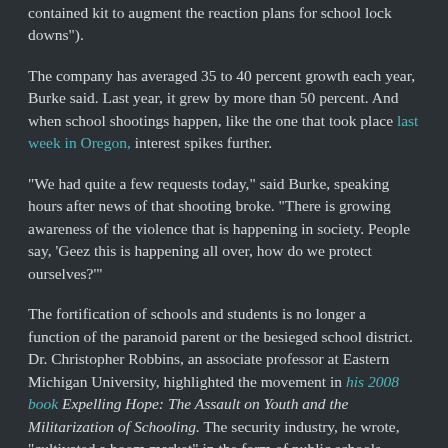contained kit to augment the reaction plans for school lock downs").
The company has averaged 35 to 40 percent growth each year, Burke said. Last year, it grew by more than 50 percent. And when school shootings happen, like the one that took place last week in Oregon, interest spikes further.
“We had quite a few requests today,” said Burke, speaking hours after news of that shooting broke. “There is growing awareness of the violence that is happening in society. People say, ‘Geez this is happening all over, how do we protect ourselves?’”
The fortification of schools and students is no longer a function of the paranoid parent or the besieged school district. Dr. Christopher Robbins, an associate professor at Eastern Michigan University, highlighted the movement in his 2008 book Expelling Hope: The Assault on Youth and the Militarization of Schooling. The security industry, he wrote, “cultivated a boom market” in the form of public schools.